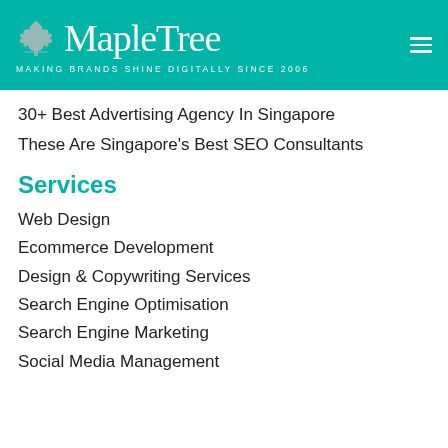[Figure (logo): MapleTree logo with leaf icon and tagline 'MAKING BRANDS SHINE DIGITALLY SINCE 2006' on teal background]
30+ Best Advertising Agency In Singapore
These Are Singapore's Best SEO Consultants
Services
Web Design
Ecommerce Development
Design & Copywriting Services
Search Engine Optimisation
Search Engine Marketing
Social Media Management